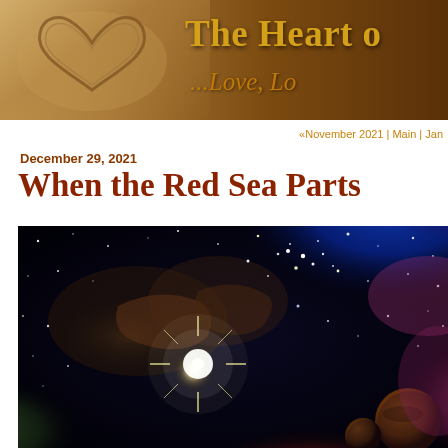The Heart of ...Love, Lo
«November 2021 | Main | Jan
December 29, 2021
When the Red Sea Parts
[Figure (photo): Space/nebula photograph showing a colorful cosmic scene with stars, nebula clouds in purple, blue, red and green hues, a bright central star burst, and two dark planetary bodies in the lower right corner]